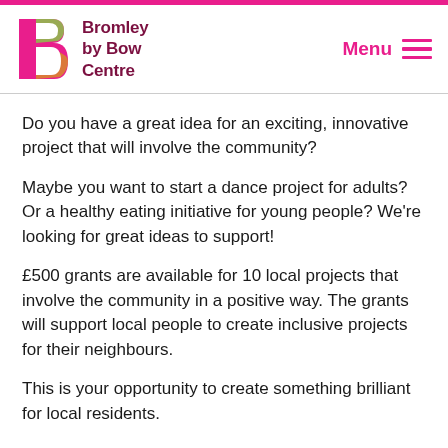Bromley by Bow Centre
Do you have a great idea for an exciting, innovative project that will involve the community?
Maybe you want to start a dance project for adults? Or a healthy eating initiative for young people? We're looking for great ideas to support!
£500 grants are available for 10 local projects that involve the community in a positive way. The grants will support local people to create inclusive projects for their neighbours.
This is your opportunity to create something brilliant for local residents.